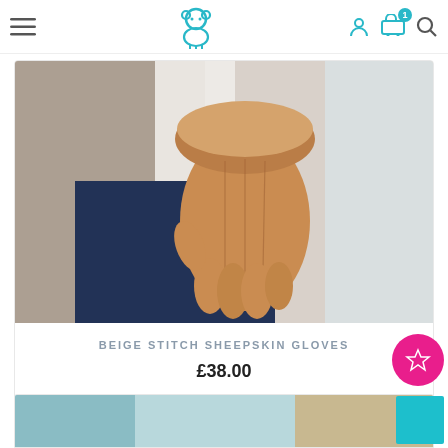[Figure (screenshot): E-commerce website navigation bar with hamburger menu, sheep logo, user icon, cart with badge showing 1 item, and search icon]
[Figure (photo): Person wearing beige stitch sheepskin gloves with tan leather and sherpa fur cuff, against blue jeans background]
BEIGE STITCH SHEEPSKIN GLOVES
£38.00
Add to Wishlist
[Figure (screenshot): Second product card partially visible at bottom of page]